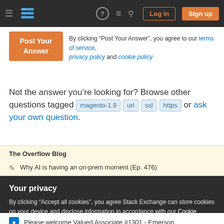[Figure (screenshot): Stack Exchange navigation bar with hamburger menu, logo, help, chat, search icons, Log in and Sign up buttons]
By clicking “Post Your Answer”, you agree to our terms of service, privacy policy and cookie policy
Not the answer you’re looking for? Browse other questions tagged magento-1.9 url ssl https or ask your own question.
The Overflow Blog
Why AI is having an on-prem moment (Ep. 476)
Your privacy
By clicking “Accept all cookies”, you agree Stack Exchange can store cookies on your device and disclose information in accordance with our Cookie Policy.
Please welcome Valued Associate #1301 - Emerson